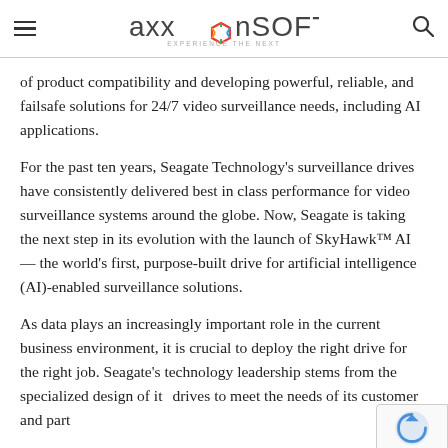AxxonSoft — Experience The Next
of product compatibility and developing powerful, reliable, and failsafe solutions for 24/7 video surveillance needs, including AI applications.
For the past ten years, Seagate Technology's surveillance drives have consistently delivered best in class performance for video surveillance systems around the globe. Now, Seagate is taking the next step in its evolution with the launch of SkyHawk™ AI — the world's first, purpose-built drive for artificial intelligence (AI)-enabled surveillance solutions.
As data plays an increasingly important role in the current business environment, it is crucial to deploy the right drive for the right job. Seagate's technology leadership stems from the specialized design of its drives to meet the needs of its customer and part…
Among VMS vendors, AxxonSoft is one of the pioneers…